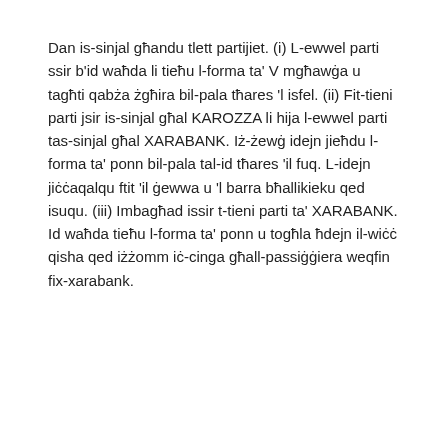Dan is-sinjal għandu tlett partijiet. (i) L-ewwel parti ssir b'id waħda li tieħu l-forma ta' V mgħawġa u tagħti qabża żgħira bil-pala tħares 'l isfel. (ii) Fit-tieni parti jsir is-sinjal għal KAROZZA li hija l-ewwel parti tas-sinjal għal XARABANK. Iż-żewġ idejn jieħdu l-forma ta' ponn bil-pala tal-id tħares 'il fuq. L-idejn jiċċaqalqu ftit 'il ġewwa u 'l barra bħallikieku qed isuqu. (iii) Imbagħad issir t-tieni parti ta' XARABANK. Id waħda tieħu l-forma ta' ponn u togħla ħdejn il-wiċċ qisha qed iżżomm iċ-cinga għall-passiġġiera weqfin fix-xarabank.